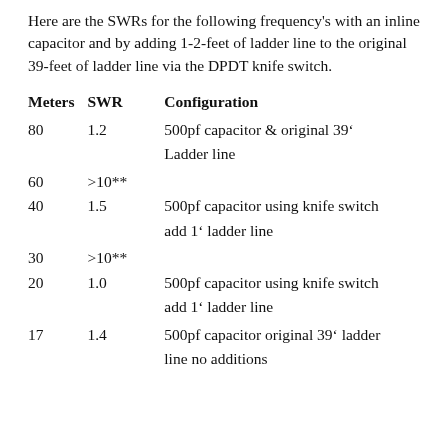Here are the SWRs for the following frequency's with an inline capacitor and by adding 1-2-feet of ladder line to the original 39-feet of ladder line via the DPDT knife switch.
| Meters | SWR | Configuration |
| --- | --- | --- |
| 80 | 1.2 | 500pf capacitor & original 39’ Ladder line |
| 60 | >10** |  |
| 40 | 1.5 | 500pf capacitor using knife switch add 1’ ladder line |
| 30 | >10** |  |
| 20 | 1.0 | 500pf capacitor using knife switch add 1’ ladder line |
| 17 | 1.4 | 500pf capacitor original 39’ ladder line no additions |